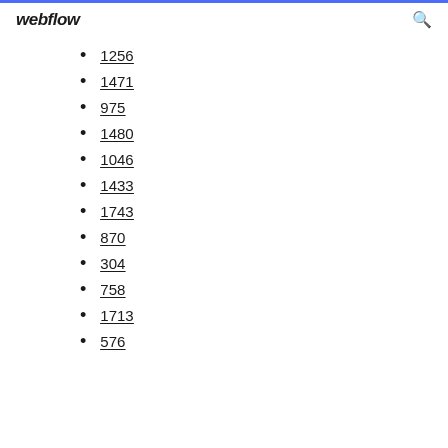webflow
1256
1471
975
1480
1046
1433
1743
870
304
758
1713
576